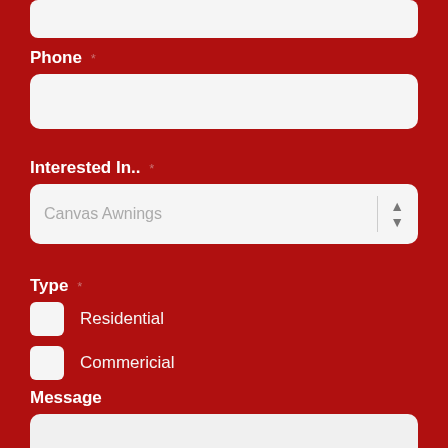Phone *
Interested In.. *
Canvas Awnings
Type *
Residential
Commericial
Message